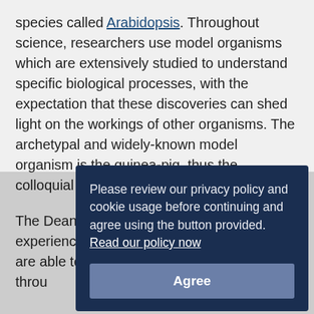species called Arabidopsis. Throughout science, researchers use model organisms which are extensively studied to understand specific biological processes, with the expectation that these discoveries can shed light on the workings of other organisms. The archetypal and widely-known model organism is the guinea-pig, thus the colloquial phrase 'to be a guinea-pig'.
The Dean lab established that as plants experience the prolonged cold of winter they are able to switch off a floral repressor gene through a process of epigenetic silencing known as vernalisation, the FLC gene. This means that after vernalisation, plants can flower when spring arrives. Understanding this mechanism at the spring...
Through... However... established... accelerate flowering time, but reflects a switch at the individual
[Figure (screenshot): Cookie consent dialog overlay with dark navy background. Text reads: 'Please review our privacy policy and cookie usage before continuing and agree using the button provided. Read our policy now'. Below is an 'Agree' button in medium blue/grey.]